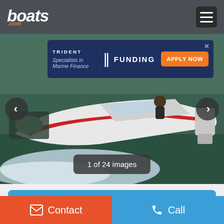[Figure (screenshot): boats.com website header with logo and hamburger menu on dark grey background]
[Figure (photo): White speedboat on water, shot from side-front angle, with Trident Funding advertisement banner overlay and image counter badge '1 of 24 images']
[Figure (screenshot): Call Now blue button and partial Send Email orange button in content area below boat photo]
[Figure (screenshot): Bottom navigation bar with orange Contact button and blue Call button]